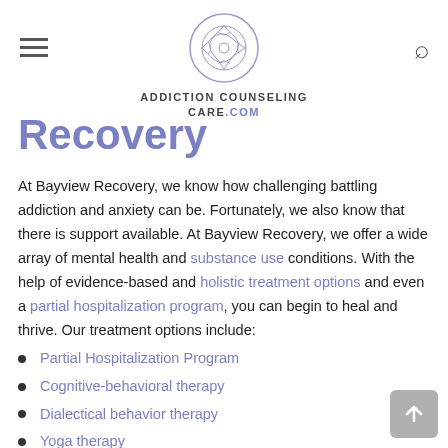ADDICTION COUNSELING CARE.COM
Recovery
At Bayview Recovery, we know how challenging battling addiction and anxiety can be. Fortunately, we also know that there is support available. At Bayview Recovery, we offer a wide array of mental health and substance use conditions. With the help of evidence-based and holistic treatment options and even a partial hospitalization program, you can begin to heal and thrive. Our treatment options include:
Partial Hospitalization Program
Cognitive-behavioral therapy
Dialectical behavior therapy
Yoga therapy